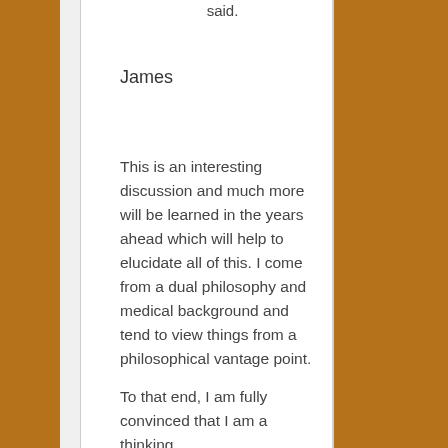said.
James
This is an interesting discussion and much more will be learned in the years ahead which will help to elucidate all of this. I come from a dual philosophy and medical background and tend to view things from a philosophical vantage point.
To that end, I am fully convinced that I am a thinking